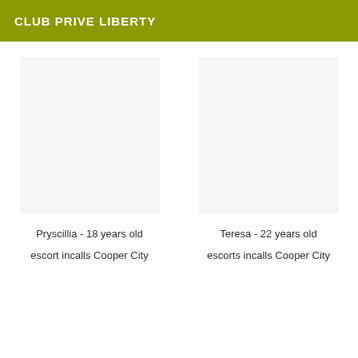CLUB PRIVE LIBERTY
Pryscillia - 18 years old
escort incalls Cooper City
Teresa - 22 years old
escorts incalls Cooper City